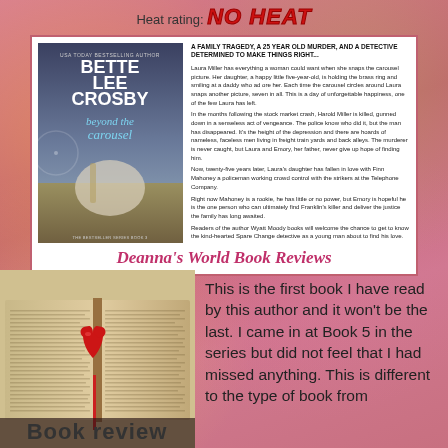Heat rating: NO HEAT
[Figure (illustration): Book cover for 'Beyond the Carousel' by Bette Lee Crosby, USA Today Bestselling Author, The Bestseller Series Book 3, showing a carousel horse against a fairground background]
A FAMILY TRAGEDY, A 25 YEAR OLD MURDER, AND A DETECTIVE DETERMINED TO MAKE THINGS RIGHT...
Laura Miller has everything a woman could want when she snaps the carousel picture. Her daughter, a happy little five-year-old, is holding the brass ring and smiling at a daddy who adore her. Each time the carousel circles around Laura snaps another picture, seven in all. This is a day of unforgettable happiness, one of the few Laura has left. In the months following the stock market crash, Harold Miller is killed, gunned down in a senseless act of vengeance. The police know who did it, but the man has disappeared. It's the height of the depression and there are hoards of nameless, faceless men living in freight train yards and back alleys. The murderer is never caught, but Laura and Emory, her father, never give up hope of finding him. Now, twenty-five years later, Laura's daughter has fallen in love with Finn Mahoney a policeman working crowd control with the strikers at the Telephone Company. Right now Mahoney is a rookie, he has little or no power, but Emory is hopeful he is the one person who can ultimately find Franklin's killer and deliver the justice the family has long awaited. Readers of the author Wyatt Moody books will welcome the chance to get to know the kind-hearted Spare Change detective as a young man about to find his love.
Deanna's World Book Reviews
[Figure (photo): Open book with a red heart-shaped decoration/lollipop resting on the pages]
This is the first book I have read by this author and it won't be the last. I came in at Book 5 in the series but did not feel that I had missed anything. This is different to the type of book from
Book review